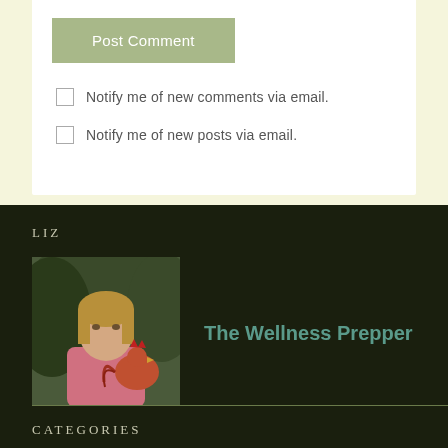Post Comment
Notify me of new comments via email.
Notify me of new posts via email.
LIZ
[Figure (photo): Photo of a young woman holding a rooster, with outdoor blurred background]
The Wellness Prepper
CATEGORIES